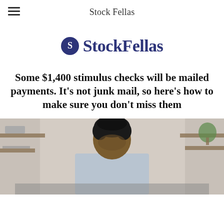Stock Fellas
[Figure (logo): StockFellas logo with circular S icon in navy blue and bold StockFellas wordmark in navy blue]
Some $1,400 stimulus checks will be mailed payments. It's not junk mail, so here's how to make sure you don't miss them
[Figure (photo): A man with dark hair sitting at a desk or table, looking down, wearing a light blue/grey shirt, with shelving visible in the background]